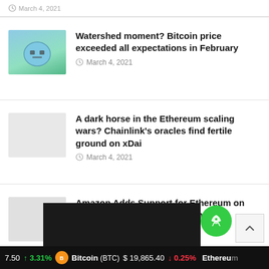[Figure (screenshot): Partial top of page with article thumbnail (cut off) and date March 4, 2021]
[Figure (illustration): Colorful cartoon-style Bitcoin coin illustration with green background]
Watershed moment? Bitcoin price exceeded all expectations in February
March 4, 2021
[Figure (photo): Light gray placeholder thumbnail]
A dark horse in the Ethereum scaling wars? Chainlink’s oracles find fertile ground on xDai
March 4, 2021
[Figure (photo): Light gray placeholder thumbnail]
Amazon Adds Support for Ethereum on Amazon Managed Blockchain
March 4, 2021
[Figure (screenshot): Dark promo block with rocket icon in green circle]
Bitcoin (BTC) $19,865.40 −0.25% ↑ 3.31% Ethereum